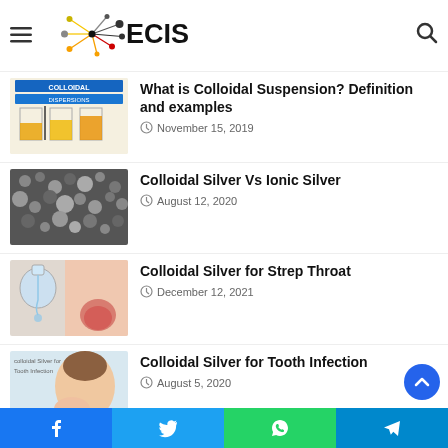ECIS
What is Colloidal Suspension? Definition and examples — November 15, 2019
Colloidal Silver Vs Ionic Silver — August 12, 2020
Colloidal Silver for Strep Throat — December 12, 2021
Colloidal Silver for Tooth Infection — August 5, 2020
Best Harry Potter Fanfiction Stories to Read in 2022
Facebook | Twitter | WhatsApp | Telegram